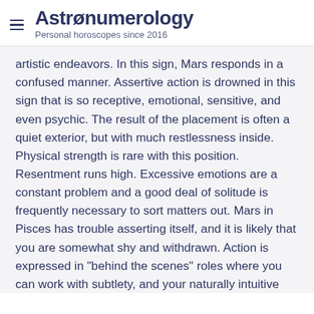Astrønumerology — Personal horoscopes since 2016
artistic endeavors. In this sign, Mars responds in a confused manner. Assertive action is drowned in this sign that is so receptive, emotional, sensitive, and even psychic. The result of the placement is often a quiet exterior, but with much restlessness inside. Physical strength is rare with this position. Resentment runs high. Excessive emotions are a constant problem and a good deal of solitude is frequently necessary to sort matters out. Mars in Pisces has trouble asserting itself, and it is likely that you are somewhat shy and withdrawn. Action is expressed in "behind the scenes" roles where you can work with subtlety, and your naturally intuitive sensitivity. Much of your attitude stems from your keen sensitivity to the feelings of others. You clearly know what the other person is feeling, and therefore you are always ready to render assistance to those who are most in need. You are apt to express the energies of Mars most